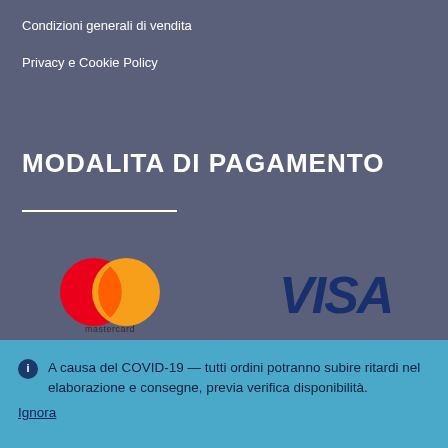Condizioni generali di vendita
Privacy e Cookie Policy
MODALITA DI PAGAMENTO
[Figure (logo): Mastercard logo — two overlapping circles (red and orange) with 'mastercard' text below]
[Figure (logo): Visa logo — bold italic 'VISA' text in dark blue]
A causa del COVID-19 — tutti ordini potranno subire ritardi nel elaborazione e consegne, previa verifica disponibilità.
Ignora